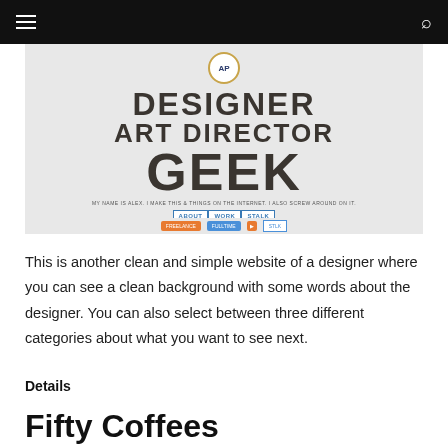navigation bar with hamburger menu and search icon
[Figure (screenshot): Screenshot of a designer portfolio website with 'AP' badge logo, large text reading 'DESIGNER ART DIRECTOR GEEK', a tagline, and navigation buttons: ABOUT, WORK, STALK]
This is another clean and simple website of a designer where you can see a clean background with some words about the designer. You can also select between three different categories about what you want to see next.
Details
Fifty Coffees